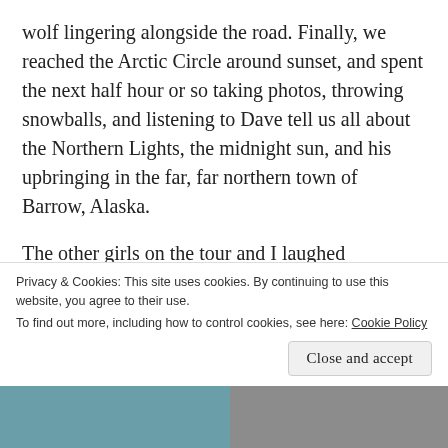wolf lingering alongside the road. Finally, we reached the Arctic Circle around sunset, and spent the next half hour or so taking photos, throwing snowballs, and listening to Dave tell us all about the Northern Lights, the midnight sun, and his upbringing in the far, far northern town of Barrow, Alaska.
The other girls on the tour and I laughed hysterically as we jumped and leapt through the snow to get our Instagram photos just right. Watching the sun go down around the Arctic Circle, knowing I was in one of the few places on earth where I could experience such a thing. I was more
Privacy & Cookies: This site uses cookies. By continuing to use this website, you agree to their use.
To find out more, including how to control cookies, see here: Cookie Policy
Close and accept
[Figure (photo): Bottom strip showing partial photos — left side appears to be an outdoor/nature scene with teal tones, right side shows a grey/winter scene.]